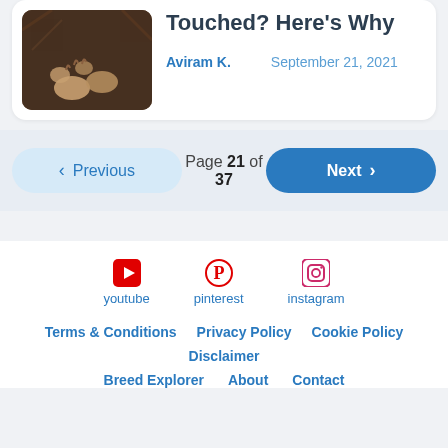[Figure (photo): Photo of a dog's paws resting on a dark surface]
Touched? Here's Why
Aviram K.    September 21, 2021
Previous   Page 21 of 37   Next
[Figure (infographic): Social media icons: YouTube, Pinterest, Instagram with labels]
youtube   pinterest   instagram
Terms & Conditions   Privacy Policy   Cookie Policy
Disclaimer
Breed Explorer   About   Contact